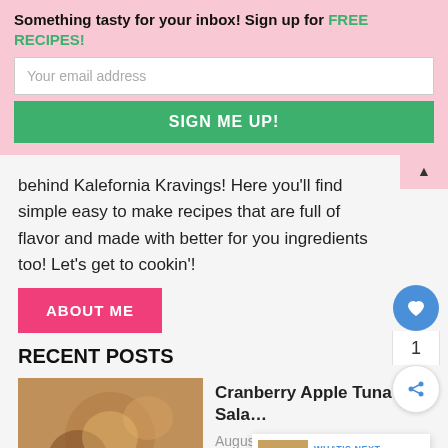Something tasty for your inbox! Sign up for FREE RECIPES!
Your email address
SIGN ME UP!
behind Kalefornia Kravings! Here you'll find simple easy to make recipes that are full of flavor and made with better for you ingredients too! Let's get to cookin'!
ABOUT ME
RECENT POSTS
Cranberry Apple Tuna Sala…
August 19, 2022
WHAT'S NEXT → Gluten Free Double...